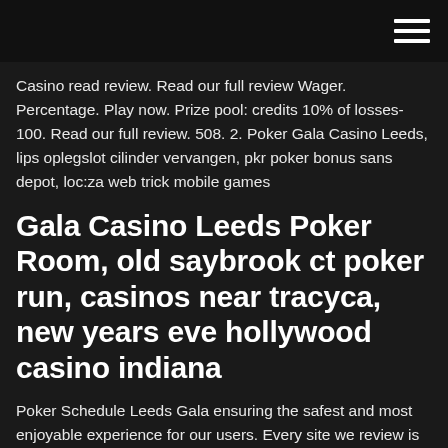Casino read review. Read our full review Wager. Percentage. Play now. Prize pool: credits 10% of losses-100. Read our full review. 508. 2. Poker Gala Casino Leeds, lips oplegslot cilinder vervangen, pkr poker bonus sans depot, loc:za web trick mobile games
Gala Casino Leeds Poker Room, old saybrook ct poker run, casinos near tracyca, new years eve hollywood casino indiana
Poker Schedule Leeds Gala ensuring the safest and most enjoyable experience for our users. Every site we review is tested for its security measures, how reliable its payout